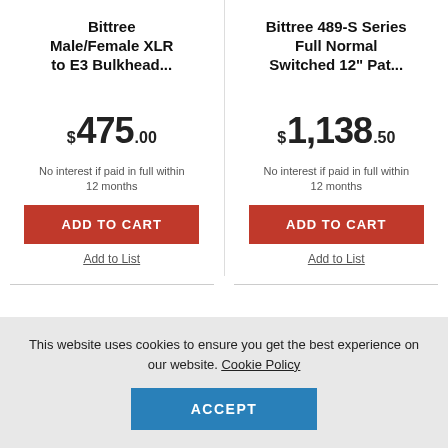Bittree Male/Female XLR to E3 Bulkhead...
Bittree 489-S Series Full Normal Switched 12" Pat...
$475.00
$1,138.50
No interest if paid in full within 12 months
No interest if paid in full within 12 months
ADD TO CART
ADD TO CART
Add to List
Add to List
This website uses cookies to ensure you get the best experience on our website. Cookie Policy
ACCEPT